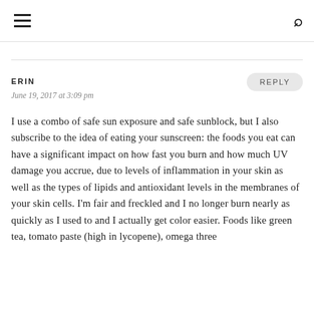≡  🔍
ERIN
REPLY
June 19, 2017 at 3:09 pm
I use a combo of safe sun exposure and safe sunblock, but I also subscribe to the idea of eating your sunscreen: the foods you eat can have a significant impact on how fast you burn and how much UV damage you accrue, due to levels of inflammation in your skin as well as the types of lipids and antioxidant levels in the membranes of your skin cells. I'm fair and freckled and I no longer burn nearly as quickly as I used to and I actually get color easier. Foods like green tea, tomato paste (high in lycopene), omega three